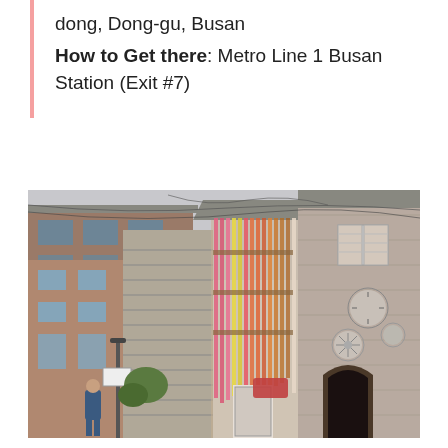dong, Dong-gu, Busan
How to Get there: Metro Line 1 Busan Station (Exit #7)
[Figure (photo): Street scene in Busan, South Korea showing stone steps going uphill between brick buildings on the left, and an artistic installation with colorful vertical tubes/pipes (pink, yellow, orange) hanging from a structure in the center, with a traditional-style stone building with arched doorway and circular decorative elements on the right.]